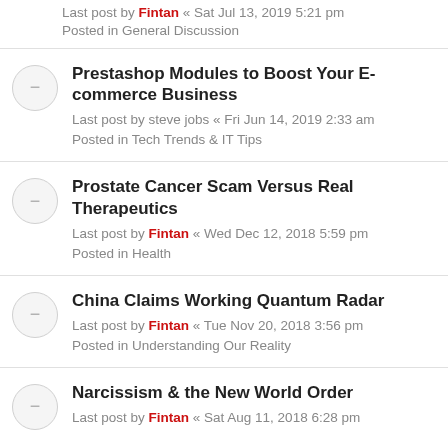Last post by Fintan « Sat Jul 13, 2019 5:21 pm
Posted in General Discussion
Prestashop Modules to Boost Your E-commerce Business
Last post by steve jobs « Fri Jun 14, 2019 2:33 am
Posted in Tech Trends & IT Tips
Prostate Cancer Scam Versus Real Therapeutics
Last post by Fintan « Wed Dec 12, 2018 5:59 pm
Posted in Health
China Claims Working Quantum Radar
Last post by Fintan « Tue Nov 20, 2018 3:56 pm
Posted in Understanding Our Reality
Narcissism & the New World Order
Last post by Fintan « Sat Aug 11, 2018 6:28 pm